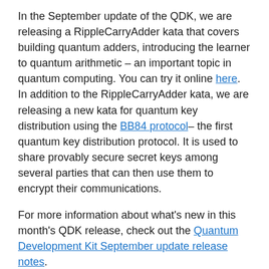In the September update of the QDK, we are releasing a RippleCarryAdder kata that covers building quantum adders, introducing the learner to quantum arithmetic – an important topic in quantum computing. You can try it online here. In addition to the RippleCarryAdder kata, we are releasing a new kata for quantum key distribution using the BB84 protocol– the first quantum key distribution protocol. It is used to share provably secure secret keys among several parties that can then use them to encrypt their communications.
For more information about what's new in this month's QDK release, check out the Quantum Development Kit September update release notes.
We welcome your feedback, participation, and contributions to the Quantum Development Kit. For more information on how you can get started with contributing to the Quantum Development Kit check out our guide here.